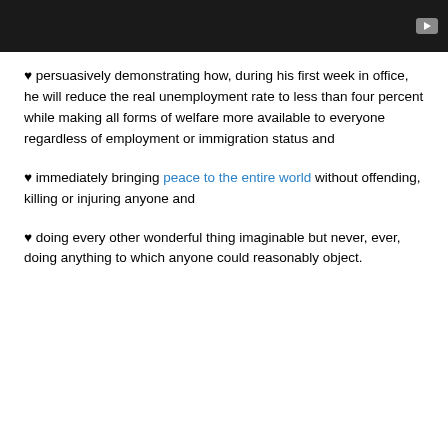[Figure (screenshot): Dark video player bar with a play button icon in the top-right corner]
♥ persuasively demonstrating how, during his first week in office, he will reduce the real unemployment rate to less than four percent while making all forms of welfare more available to everyone regardless of employment or immigration status and
♥ immediately bringing peace to the entire world without offending, killing or injuring anyone and
♥ doing every other wonderful thing imaginable but never, ever, doing anything to which anyone could reasonably object.